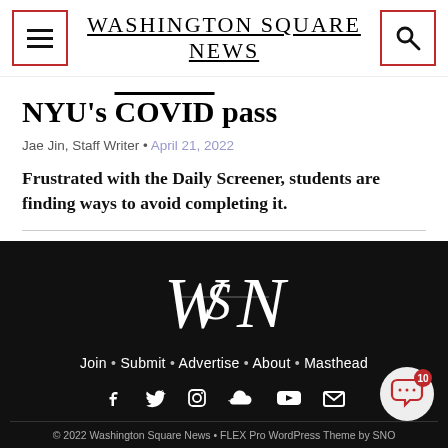Washington Square News
NYU's COVID pass
Jae Jin, Staff Writer • April 21, 2022
Frustrated with the Daily Screener, students are finding ways to avoid completing it.
[Figure (logo): Washington Square News WSN logo in white on black footer background]
Join • Submit • Advertise • About • Masthead
© 2022 Washington Square News • FLEX Pro WordPress Theme by SNO